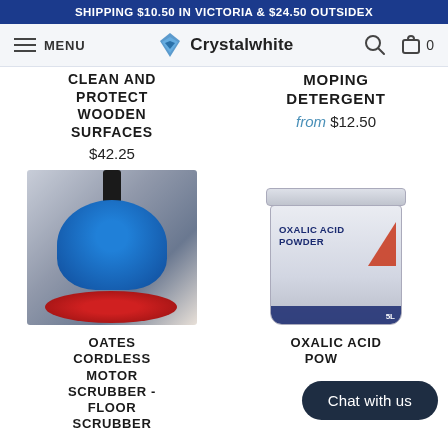SHIPPING $10.50 IN VICTORIA & $24.50 OUTSIDEX
[Figure (screenshot): Crystalwhite navigation bar with hamburger menu, logo, search icon, and cart icon showing 0 items]
CLEAN AND PROTECT WOODEN SURFACES
$42.25
MOPING DETERGENT
from $12.50
[Figure (photo): Blue floor scrubber machine with red base pad on a floor]
[Figure (photo): White bucket of Oxalic Acid Powder with blue and orange label]
OATES CORDLESS MOTOR SCRUBBER - FLOOR SCRUBBER
OXALIC ACID POWDER DEEP CLEANER
$49.50
Chat with us